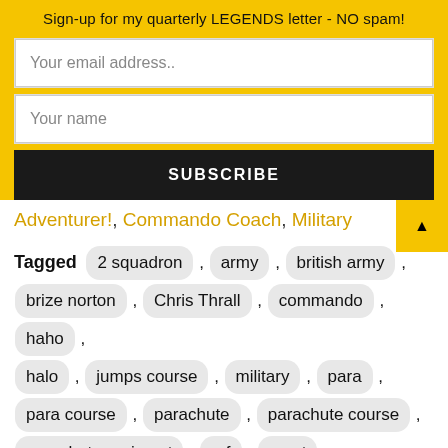Sign-up for my quarterly LEGENDS letter - NO spam!
Your email address..
Your name
SUBSCRIBE
Adventurer!, Commando Coach, Military
Tagged  2 squadron , army , british army , brize norton , Chris Thrall , commando , haho , halo , jumps course , military , para , para course , parachute , parachute course , parachute regiment , raf , react , reaction video , regiment , royal air force , Royal Marines , sas , Special Air Service , the paras